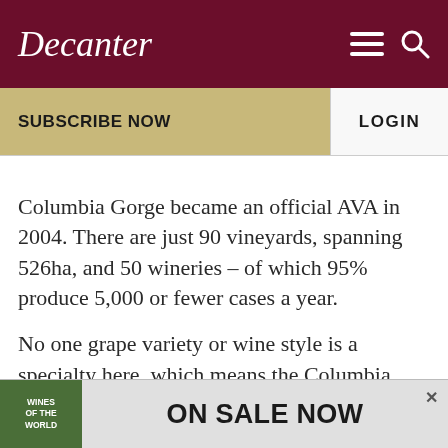Decanter
SUBSCRIBE NOW
LOGIN
Columbia Gorge became an official AVA in 2004. There are just 90 vineyards, spanning 526ha, and 50 wineries – of which 95% produce 5,000 or fewer cases a year.
No one grape variety or wine style is a specialty here, which means the Columbia Gorge is challenging to define, but also ripe with potential. For such a tiny planted area, there are more than 50
[Figure (advertisement): Advertisement banner for Wines of the World ON SALE NOW]